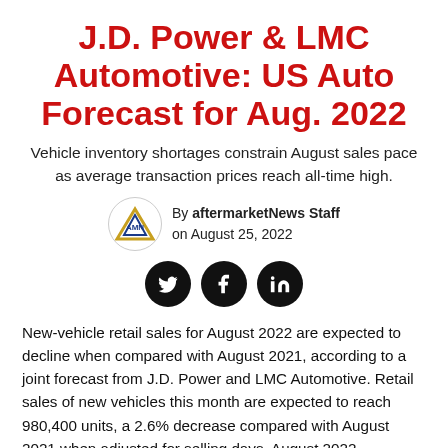J.D. Power & LMC Automotive: US Auto Forecast for Aug. 2022
Vehicle inventory shortages constrain August sales pace as average transaction prices reach all-time high.
By aftermarketNews Staff on August 25, 2022
[Figure (logo): AMN (aftermarketNews) circular logo with triangle icon]
[Figure (infographic): Social media share buttons: Twitter, Facebook, LinkedIn (black circles with white icons)]
New-vehicle retail sales for August 2022 are expected to decline when compared with August 2021, according to a joint forecast from J.D. Power and LMC Automotive. Retail sales of new vehicles this month are expected to reach 980,400 units, a 2.6% decrease compared with August 2021 when adjusted for selling days. August 2022